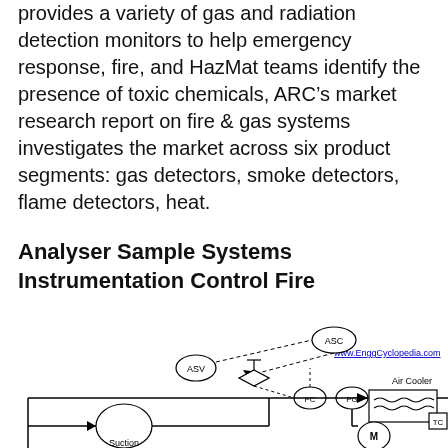provides a variety of gas and radiation detection monitors to help emergency response, fire, and HazMat teams identify the presence of toxic chemicals, ARC's market research report on fire & gas systems investigates the market across six product segments: gas detectors, smoke detectors, flame detectors, heat.
Analyser Sample Systems Instrumentation Control Fire
[Figure (schematic): Engineering schematic of an analyser sample system showing ASV valve, ASC controller, PC and PG pressure instruments, Air Cooler with motor M, TC temperature controller, suction vessel, and interconnecting pipelines with flow arrows. Website watermark: www.EnggCyclopedia.com]